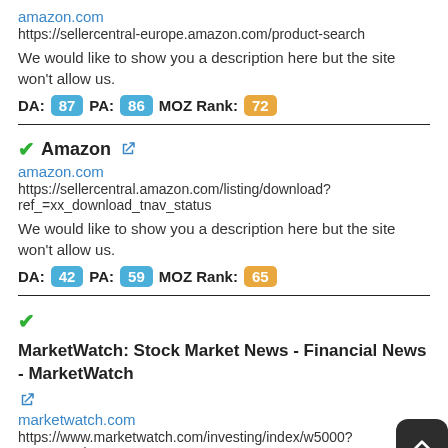amazon.com
https://sellercentral-europe.amazon.com/product-search
We would like to show you a description here but the site won't allow us.
DA: 87  PA: 86  MOZ Rank: 72
✔Amazon 🔗
amazon.com
https://sellercentral.amazon.com/listing/download?ref_=xx_download_tnav_status
We would like to show you a description here but the site won't allow us.
DA: 42  PA: 59  MOZ Rank: 65
✔MarketWatch: Stock Market News - Financial News - MarketWatch 🔗
marketwatch.com
https://www.marketwatch.com/investing/index/w5000?countrycode=xx